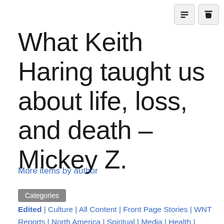What Keith Haring taught us about life, loss, and death – Mickey Z.
More items by author
Categories
Edited | Culture | All Content | Front Page Stories | WNT Reports | North America | Spiritual | Media | Health | Children | Arts